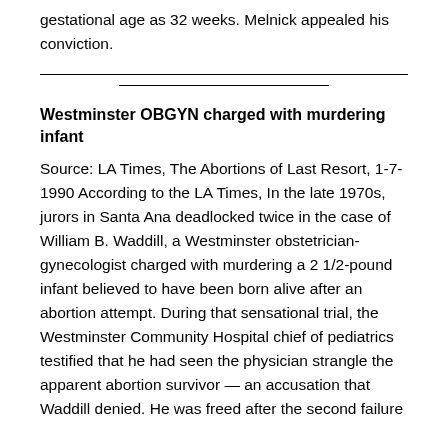gestational age as 32 weeks. Melnick appealed his conviction.
Westminster OBGYN charged with murdering infant
Source: LA Times, The Abortions of Last Resort, 1-7-1990 According to the LA Times, In the late 1970s, jurors in Santa Ana deadlocked twice in the case of William B. Waddill, a Westminster obstetrician-gynecologist charged with murdering a 2 1/2-pound infant believed to have been born alive after an abortion attempt. During that sensational trial, the Westminster Community Hospital chief of pediatrics testified that he had seen the physician strangle the apparent abortion survivor — an accusation that Waddill denied. He was freed after the second failure